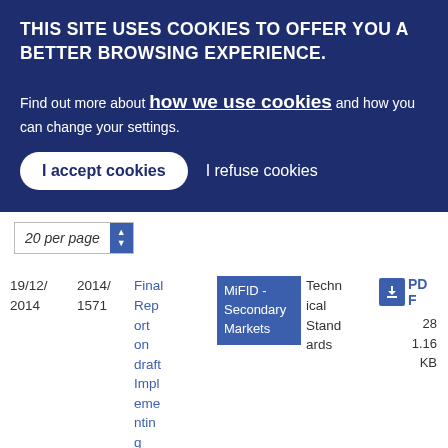THIS SITE USES COOKIES TO OFFER YOU A BETTER BROWSING EXPERIENCE.
Find out more about how we use cookies and how you can change your settings.
I accept cookies | I refuse cookies
| Date | Reference | Title | Category | Type | Download |
| --- | --- | --- | --- | --- | --- |
| 19/12/2014 | 2014/1571 | Final Report on draft Implementing Tech... | MiFID - Secondary Markets | Technical Standards | PDF 28 1.16 KB |